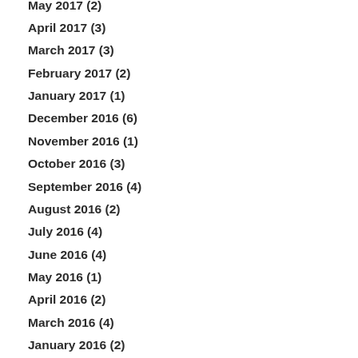May 2017 (2)
April 2017 (3)
March 2017 (3)
February 2017 (2)
January 2017 (1)
December 2016 (6)
November 2016 (1)
October 2016 (3)
September 2016 (4)
August 2016 (2)
July 2016 (4)
June 2016 (4)
May 2016 (1)
April 2016 (2)
March 2016 (4)
January 2016 (2)
December 2015 (1)